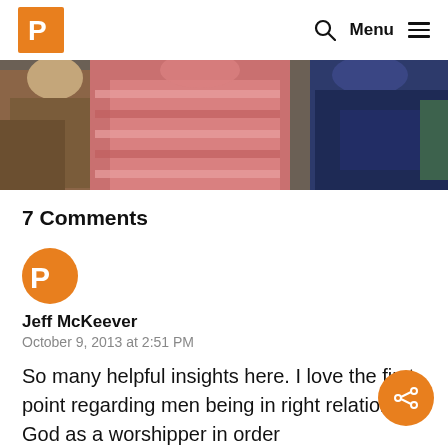[Figure (logo): Orange square logo with white letter P inside, top-left header]
Menu
[Figure (photo): Cropped photo strip showing people in colourful clothing]
7 Comments
[Figure (logo): Orange circle with white letter P — commenter avatar]
Jeff McKeever
October 9, 2013 at 2:51 PM
So many helpful insights here. I love the first point regarding men being in right relation to God as a worshipper in order